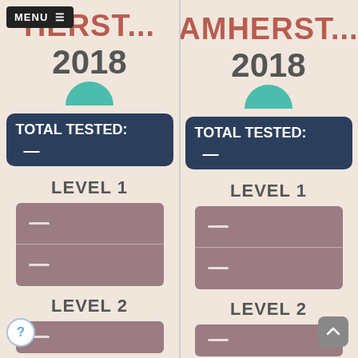AMHERST... 2018
TOTAL TESTED: —
LEVEL 1
— —
LEVEL 2
AMHERST... 2018
TOTAL TESTED: —
LEVEL 1
— —
LEVEL 2